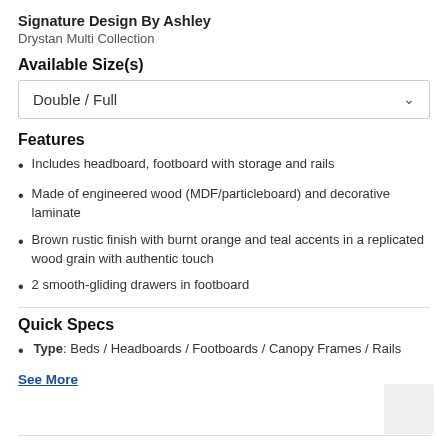Signature Design By Ashley
Drystan Multi Collection
Available Size(s)
Double / Full
Features
Includes headboard, footboard with storage and rails
Made of engineered wood (MDF/particleboard) and decorative laminate
Brown rustic finish with burnt orange and teal accents in a replicated wood grain with authentic touch
2 smooth-gliding drawers in footboard
Quick Specs
Type: Beds / Headboards / Footboards / Canopy Frames / Rails
See More